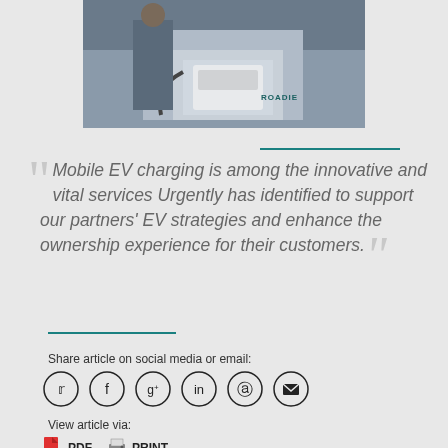[Figure (photo): Person plugging in an EV charger next to a white device labeled ROADIE]
Mobile EV charging is among the innovative and vital services Urgently has identified to support our partners' EV strategies and enhance the ownership experience for their customers.
Share article on social media or email:
[Figure (infographic): Social media share icons: Twitter, Facebook, Google+, LinkedIn, Pinterest, Email]
View article via:
PDF   PRINT